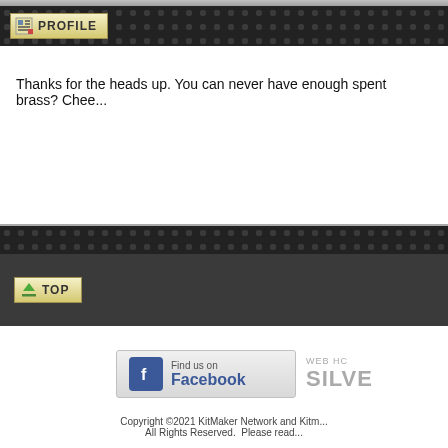PROFILE
Thanks for the heads up. You can never have enough spent brass? Chee...
[Figure (other): TOP navigation button with upward arrow]
[Figure (logo): Find us on Facebook badge]
[Figure (logo): WEB HC SILVE... (web hosting logo, partially visible)]
Copyright ©2021 KitMaker Network and Kitm... All Rights Reserved.  Please read...